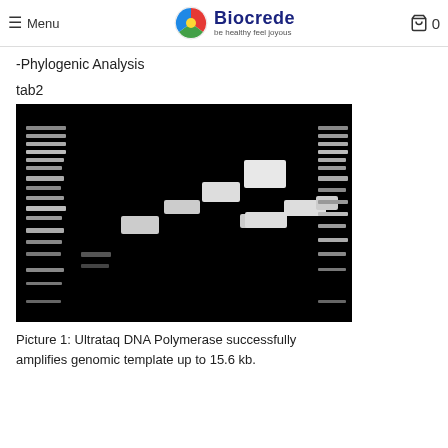Menu | Biocrede be healthy feel joyous | 0
-Phylogenic Analysis
tab2
[Figure (photo): Agarose gel electrophoresis image showing DNA ladder markers on both ends and a series of PCR bands of increasing size across multiple lanes on a black background, demonstrating amplification of genomic template up to 15.6 kb by Ultrataq DNA Polymerase.]
Picture 1: Ultrataq DNA Polymerase successfully amplifies genomic template up to 15.6 kb.